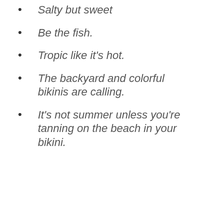Salty but sweet
Be the fish.
Tropic like it's hot.
The backyard and colorful bikinis are calling.
It's not summer unless you're tanning on the beach in your bikini.